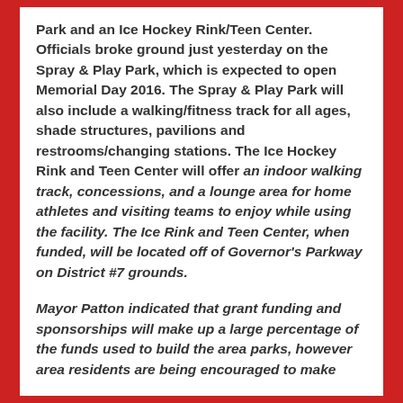Park and an Ice Hockey Rink/Teen Center. Officials broke ground just yesterday on the Spray & Play Park, which is expected to open Memorial Day 2016. The Spray & Play Park will also include a walking/fitness track for all ages, shade structures, pavilions and restrooms/changing stations. The Ice Hockey Rink and Teen Center will offer an indoor walking track, concessions, and a lounge area for home athletes and visiting teams to enjoy while using the facility. The Ice Rink and Teen Center, when funded, will be located off of Governor's Parkway on District #7 grounds.
Mayor Patton indicated that grant funding and sponsorships will make up a large percentage of the funds used to build the area parks, however area residents are being encouraged to make